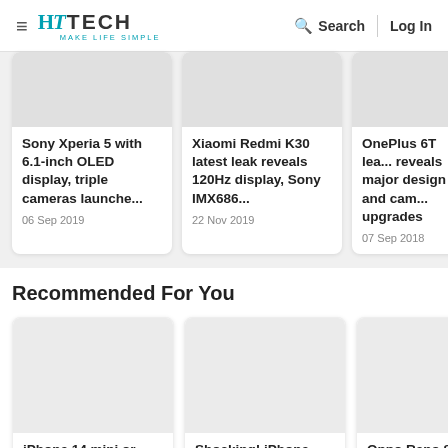HT TECH MAKE LIFE SIMPLE | Search | Log In
Sony Xperia 5 with 6.1-inch OLED display, triple cameras launche... 06 Sep 2019
Xiaomi Redmi K30 latest leak reveals 120Hz display, Sony IMX686... 22 Nov 2019
OnePlus 6T lea... reveals major design and cam... upgrades 07 Sep 2018
Recommended For You
iPhone 14 mini or
Shocking! iPhone
Oppo Reno 8 5